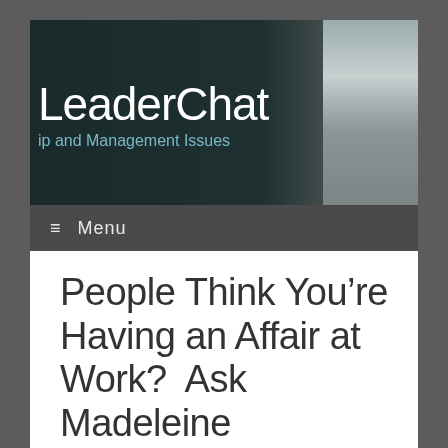[Figure (screenshot): LeaderChat website header banner with dark teal background showing the site title 'LeaderChat' and tagline 'ip and Management Issues' with a person silhouette on the right]
≡ Menu
People Think You're Having an Affair at Work?  Ask Madeleine
Madeleine Homan Blanchard / September 30, 2017